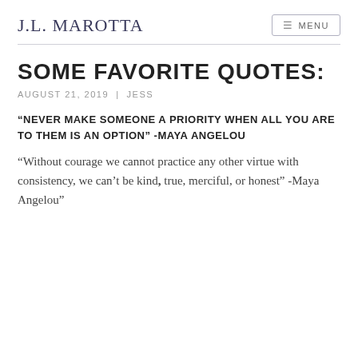J.L. MAROTTA
SOME FAVORITE QUOTES:
AUGUST 21, 2019 | JESS
“NEVER MAKE SOMEONE A PRIORITY WHEN ALL YOU ARE TO THEM IS AN OPTION” -MAYA ANGELOU
“Without courage we cannot practice any other virtue with consistency, we can't be kind, true, merciful, or honest” -Maya Angelou”